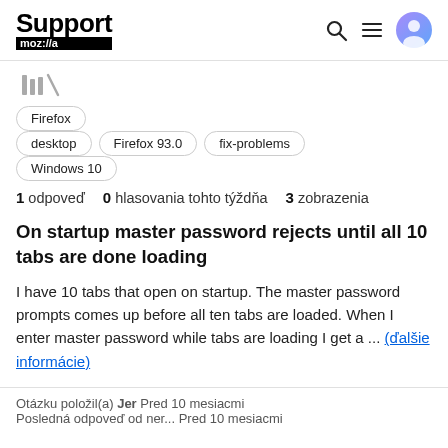Support mozilla
[Figure (illustration): Breadcrumb navigation icon (library/shelf icon)]
Firefox
desktop
Firefox 93.0
fix-problems
Windows 10
1 odpoveď   0 hlasovania tohto týždňa   3 zobrazenia
On startup master password rejects until all 10 tabs are done loading
I have 10 tabs that open on startup. The master password prompts comes up before all ten tabs are loaded. When I enter master password while tabs are loading I get a ... (ďalšie informácie)
Otázku položil(a) Jer Pred 10 mesiacmi
Posledná odpoveď od ner... Pred 10 mesiacmi